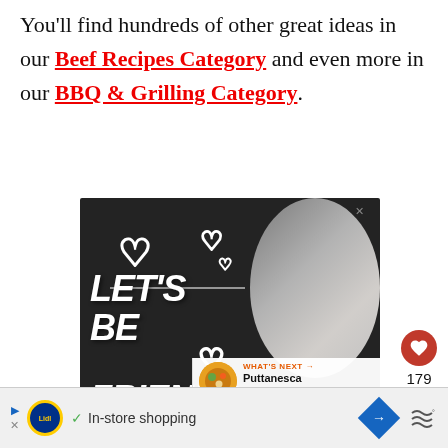You'll find hundreds of other great ideas in our Beef Recipes Category and even more in our BBQ & Grilling Category.
[Figure (illustration): Advertisement banner with dark background showing a husky dog and text 'LET'S BE FRIENDS' with heart graphics. Includes a 'What's Next' overlay for Puttanesca Pasta Salad and sidebar heart/share buttons.]
[Figure (other): Bottom advertisement bar for Lidl showing 'In-store shopping' text with Lidl logo, blue diamond navigation icon, and audio wave icon.]